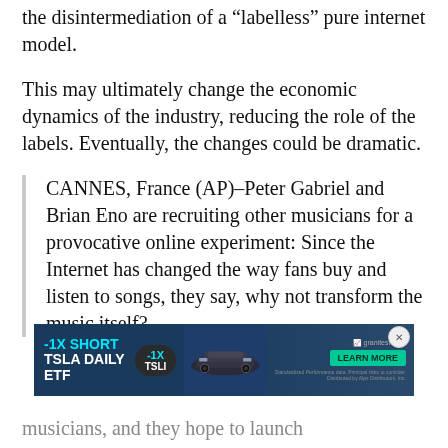the disintermediation of a “labelless” pure internet model.
This may ultimately change the economic dynamics of the industry, reducing the role of the labels. Eventually, the changes could be dramatic.
CANNES, France (AP)–Peter Gabriel and Brian Eno are recruiting other musicians for a provocative online experiment: Since the Internet has changed the way fans buy and listen to songs, they say, why not transform the music itself?
[Figure (screenshot): Advertisement banner for -1X SHORT TSLA DAILY ETF by GraniteShares, featuring a Tesla car image, TSLI ticker badge, and a green LEARN MORE button.]
musicians, and they hope to launch